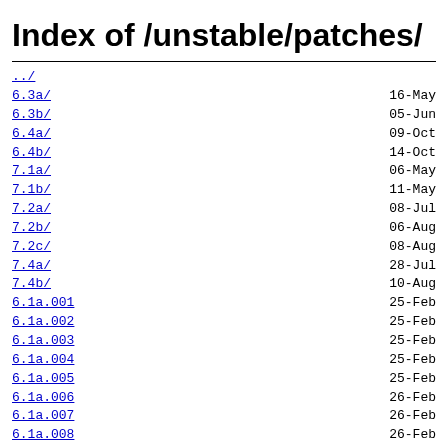Index of /unstable/patches/
../
6.3a/   16-May
6.3b/   05-Jun
6.4a/   09-Oct
6.4b/   14-Oct
7.1a/   06-May
7.1b/   11-May
7.2a/   08-Jul
7.2b/   06-Aug
7.2c/   08-Aug
7.4a/   28-Jul
7.4b/   10-Aug
6.1a.001   25-Feb
6.1a.002   25-Feb
6.1a.003   25-Feb
6.1a.004   25-Feb
6.1a.005   25-Feb
6.1a.006   26-Feb
6.1a.007   26-Feb
6.1a.008   26-Feb
6.1a.009   27-Feb
6.1a.010   27-Feb
6.1a.011   28-Feb
6.1a.012   28-Feb
6.1a.013   28-Feb